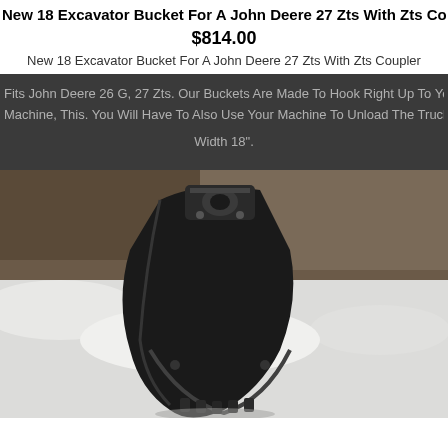New 18 Excavator Bucket For A John Deere 27 Zts With Zts Coupler
$814.00
New 18 Excavator Bucket For A John Deere 27 Zts With Zts Coupler
Fits John Deere 26 G, 27 Zts. Our Buckets Are Made To Hook Right Up To Your Machine, This. You Will Have To Also Use Your Machine To Unload The Truck. Width 18".
[Figure (photo): Black excavator bucket photographed outdoors against snow and dirt background, viewed from front/top angle showing attachment mechanism]